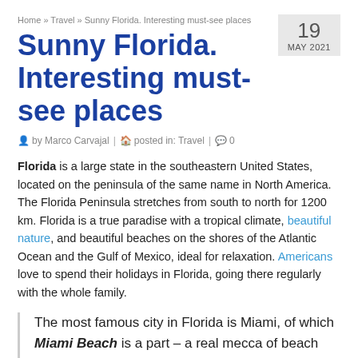Home » Travel » Sunny Florida. Interesting must-see places
Sunny Florida. Interesting must-see places
19 MAY 2021
by Marco Carvajal | posted in: Travel | 0
Florida is a large state in the southeastern United States, located on the peninsula of the same name in North America. The Florida Peninsula stretches from south to north for 1200 km. Florida is a true paradise with a tropical climate, beautiful nature, and beautiful beaches on the shores of the Atlantic Ocean and the Gulf of Mexico, ideal for relaxation. Americans love to spend their holidays in Florida, going there regularly with the whole family.
The most famous city in Florida is Miami, of which Miami Beach is a part – a real mecca of beach recreation, nightlife, and entertainment (almost like in Las Vegas, but without a casino and obviously with elements of Latin American...